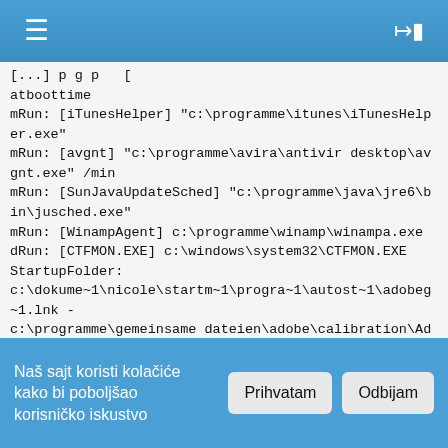☰  ⊣|
[...] atboottime
mRun: [iTunesHelper] "c:\programme\itunes\iTunesHelper.exe"
mRun: [avgnt] "c:\programme\avira\antivir desktop\avgnt.exe" /min
mRun: [SunJavaUpdateSched] "c:\programme\java\jre6\bin\jusched.exe"
mRun: [WinampAgent] c:\programme\winamp\winampa.exe
dRun: [CTFMON.EXE] c:\windows\system32\CTFMON.EXE
StartupFolder: c:\dokume~1\nicole\startm~1\progra~1\autost~1\adobeg~1.lnk - c:\programme\gemeinsame dateien\adobe\calibration\Adobe Gamma Loader.exe
StartupFolder: c:\dokume~1\alluse~1\startm~1\progra~1\autost~1\micros~1.lnk - c:\programme\microsoft office\office10\OSA.EXE
StartupFolder: c:\dokume~1\alluse~1\startm~1\progra~1\autost~1\acroba~1.lnk - c:\programme\adobe\acrobat 6.0\distillr\acrotray.exe
StartupFolder: c:\dokume~1\alluse~1\startm~1\progra~1\autost~1\hpdigi~1.lnk - c:\programme\hp\digital imaging\bin\hpqtra08.exe
Naš sajt koristi kolačiće kako bi poboljšao korisničko iskustvo
Prihvatam
Odbijam